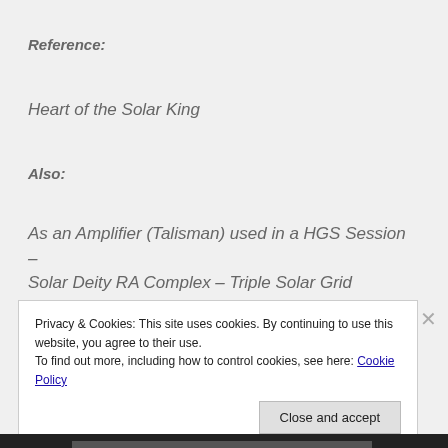Reference:
Heart of the Solar King
Also:
As an Amplifier (Talisman) used in a HGS Session – Solar Deity RA Complex – Triple Solar Grid
Privacy & Cookies: This site uses cookies. By continuing to use this website, you agree to their use.
To find out more, including how to control cookies, see here: Cookie Policy